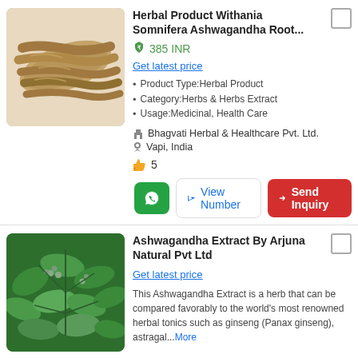[Figure (photo): Dried Ashwagandha roots, yellowish-brown, elongated, clustered together]
Herbal Product Withania Somnifera Ashwagandha Root...
385 INR
Get latest price
Product Type:Herbal Product
Category:Herbs & Herbs Extract
Usage:Medicinal, Health Care
Bhagvati Herbal & Healthcare Pvt. Ltd.
Vapi, India
5
[Figure (photo): Green Ashwagandha plant with leaves and small berries/seeds]
Ashwagandha Extract By Arjuna Natural Pvt Ltd
Get latest price
This Ashwagandha Extract is a herb that can be compared favorably to the world's most renowned herbal tonics such as ginseng (Panax ginseng), astragal...More